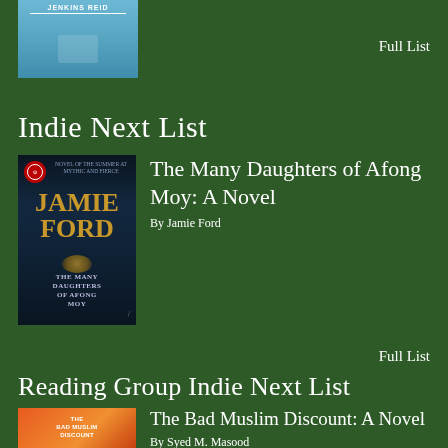[Figure (photo): Book cover partially shown at top of page, appears to be by Jenkins Reid, with blue/teal color scheme]
Full List
Indie Next List
[Figure (photo): Book cover for 'The Many Daughters of Afong Moy' by Jamie Ford - dark navy cover with author name in large gold letters]
The Many Daughters of Afong Moy: A Novel
By Jamie Ford
Full List
Reading Group Indie Next List
[Figure (photo): Book cover for 'The Bad Muslim Discount' - orange/red cover with illustrated figures]
The Bad Muslim Discount: A Novel
By Syed M. Masood